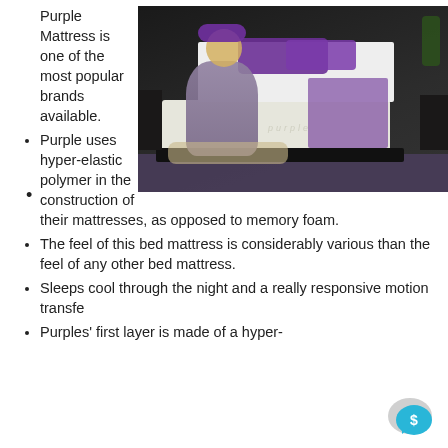[Figure (photo): A woman with purple headphones sitting on the floor next to a Purple brand mattress in a dark bedroom setting]
Purple Mattress is one of the most popular brands available.
Purple uses hyper-elastic polymer in the construction of their mattresses, as opposed to memory foam.
The feel of this bed mattress is considerably various than the feel of any other bed mattress.
Sleeps cool through the night and a really responsive motion transfer
Purples' first layer is made of a hyper-